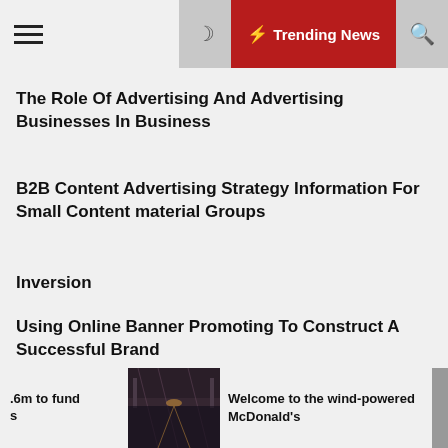☰ | ☽ | ⚡ Trending News | 🔍
The Role Of Advertising And Advertising Businesses In Business
B2B Content Advertising Strategy Information For Small Content material Groups
Inversion
Using Online Banner Promoting To Construct A Successful Brand
Archives
.6m to fund
s
[Figure (photo): Night-time street scene with lights reflected on wet pavement]
Welcome to the wind-powered McDonald's